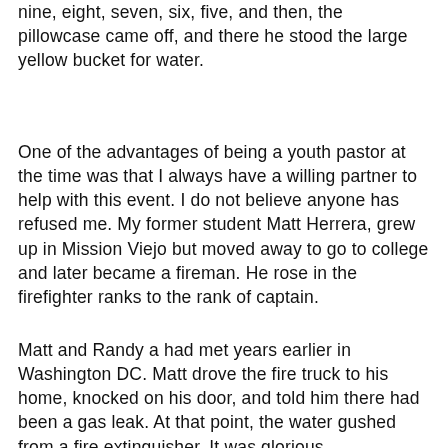nine, eight, seven, six, five, and then, the pillowcase came off, and there he stood the large yellow bucket for water.
One of the advantages of being a youth pastor at the time was that I always have a willing partner to help with this event. I do not believe anyone has refused me. My former student Matt Herrera, grew up in Mission Viejo but moved away to go to college and later became a fireman. He rose in the firefighter ranks to the rank of captain.
Matt and Randy a had met years earlier in Washington DC. Matt drove the fire truck to his home, knocked on his door, and told him there had been a gas leak. At that point, the water gushed from a fire extinguisher. It was glorious